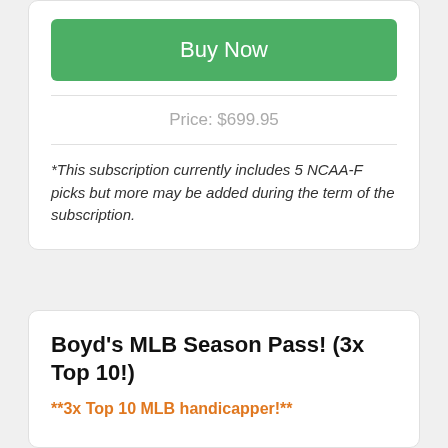Buy Now
Price: $699.95
*This subscription currently includes 5 NCAA-F picks but more may be added during the term of the subscription.
Boyd's MLB Season Pass! (3x Top 10!)
**3x Top 10 MLB handicapper!**